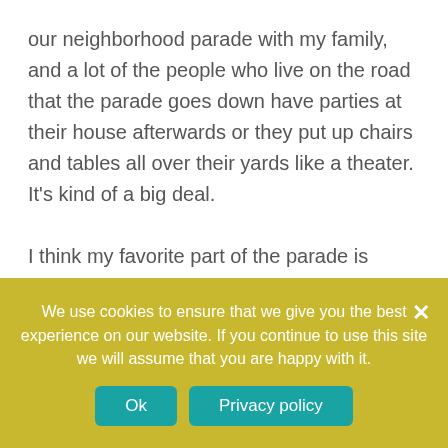our neighborhood parade with my family, and a lot of the people who live on the road that the parade goes down have parties at their house afterwards or they put up chairs and tables all over their yards like a theater.  It's kind of a big deal.

I think my favorite part of the parade is when the high school marching band comes by. I can't wait to be in the marching band. I love hearing the marching drums from really far away, they're so loud! I play
We use cookies to ensure that we give you the best experience on our website. If you continue to use this site we will assume that you are happy with it.